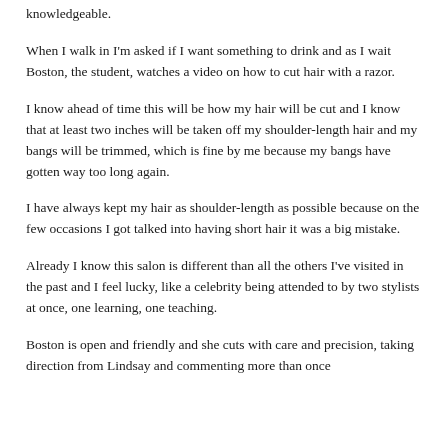knowledgeable.
When I walk in I'm asked if I want something to drink and as I wait Boston, the student, watches a video on how to cut hair with a razor.
I know ahead of time this will be how my hair will be cut and I know that at least two inches will be taken off my shoulder-length hair and my bangs will be trimmed, which is fine by me because my bangs have gotten way too long again.
I have always kept my hair as shoulder-length as possible because on the few occasions I got talked into having short hair it was a big mistake.
Already I know this salon is different than all the others I've visited in the past and I feel lucky, like a celebrity being attended to by two stylists at once, one learning, one teaching.
Boston is open and friendly and she cuts with care and precision, taking direction from Lindsay and commenting more than once